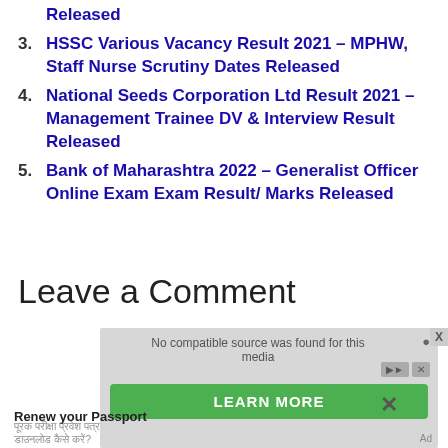Released
HSSC Various Vacancy Result 2021 – MPHW, Staff Nurse Scrutiny Dates Released
National Seeds Corporation Ltd Result 2021 – Management Trainee DV & Interview Result Released
Bank of Maharashtra 2022 – Generalist Officer Online Exam Exam Result/ Marks Released
Leave a Comment
[Figure (other): Advertisement overlay with 'No compatible source was found for this media' message, a green LEARN MORE button, and 'Renew your Passport' text with Hindi text below. An X close button and Ad label are visible.]